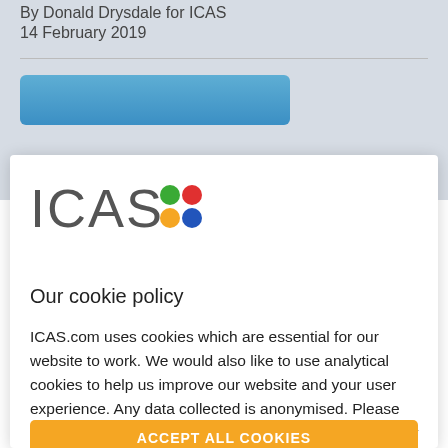By Donald Drysdale for ICAS
14 February 2019
[Figure (logo): ICAS logo with colorful dots]
Our cookie policy
ICAS.com uses cookies which are essential for our website to work. We would also like to use analytical cookies to help us improve our website and your user experience. Any data collected is anonymised. Please have a look at the further information in our cookie policy and confirm if you are happy for us to use analytical cookies: